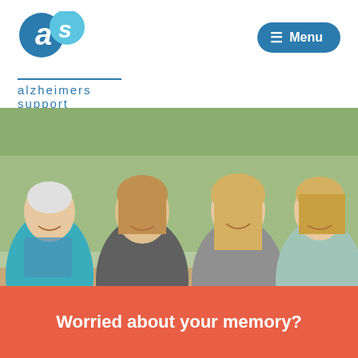[Figure (logo): Alzheimers Support logo with stylized 'as' letters in blue circles and text 'alzheimers support' in blue]
[Figure (photo): Four women smiling outdoors at a social event, some holding champagne glasses, in a sunny garden setting]
Worried about your memory?